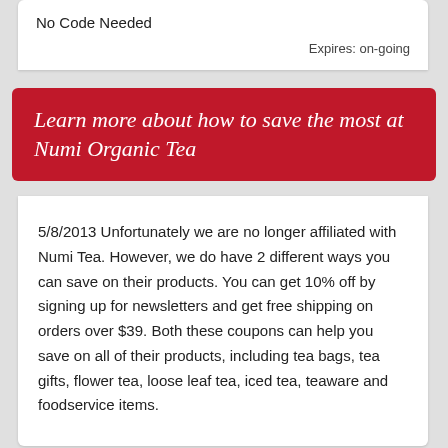No Code Needed
Expires: on-going
Learn more about how to save the most at Numi Organic Tea
5/8/2013 Unfortunately we are no longer affiliated with Numi Tea. However, we do have 2 different ways you can save on their products. You can get 10% off by signing up for newsletters and get free shipping on orders over $39. Both these coupons can help you save on all of their products, including tea bags, tea gifts, flower tea, loose leaf tea, iced tea, teaware and foodservice items.